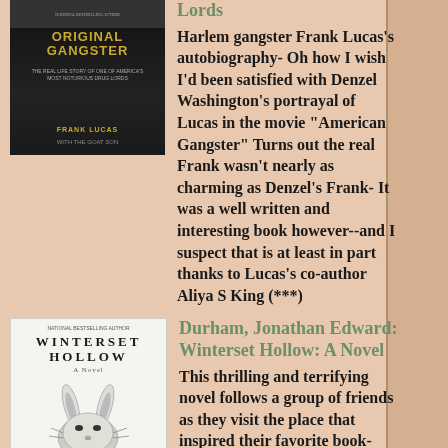[Figure (illustration): Book cover of 'Original Gangster' by Frank Lucas - dark cover with gold title text and author name]
Lords
Harlem gangster Frank Lucas's autobiography- Oh how I wish I'd been satisfied with Denzel Washington's portrayal of Lucas in the movie "American Gangster" Turns out the real Frank wasn't nearly as charming as Denzel's Frank- It was a well written and interesting book however--and I suspect that is at least in part thanks to Lucas's co-author Aliya S King (***)
[Figure (illustration): Book cover of 'Winterset Hollow: A Novel' by Jonathan Edward Durham - white cover with illustration of a rabbit/goat head]
Durham, Jonathan Edward: Winterset Hollow: A Novel
This thrilling and terrifying novel follows a group of friends as they visit the place that inspired their favorite book- There they learn that what they have thought of as fiction might be all too